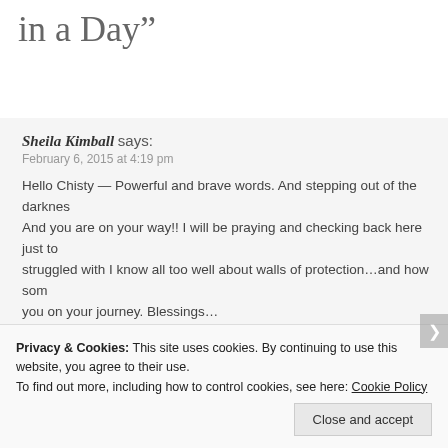in a Day”
Sheila Kimball says:
February 6, 2015 at 4:19 pm

Hello Chisty — Powerful and brave words. And stepping out of the darkness. And you are on your way!! I will be praying and checking back here just to struggled with I know all too well about walls of protection…and how som you on your journey. Blessings…
★ Like
Reply
Faith Like Dirty Diapers says:
Privacy & Cookies: This site uses cookies. By continuing to use this website, you agree to their use.
To find out more, including how to control cookies, see here: Cookie Policy
Close and accept